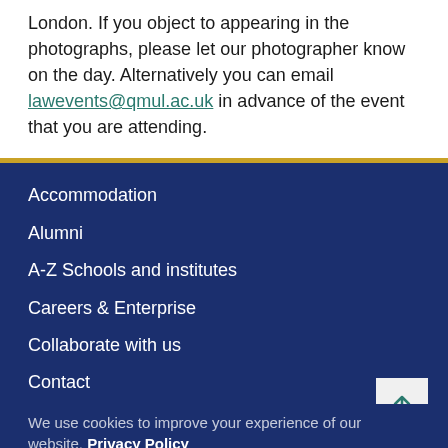London. If you object to appearing in the photographs, please let our photographer know on the day. Alternatively you can email lawevents@qmul.ac.uk in advance of the event that you are attending.
Accommodation
Alumni
A-Z Schools and institutes
Careers & Enterprise
Collaborate with us
Contact
Events
We use cookies to improve your experience of our website. Privacy Policy